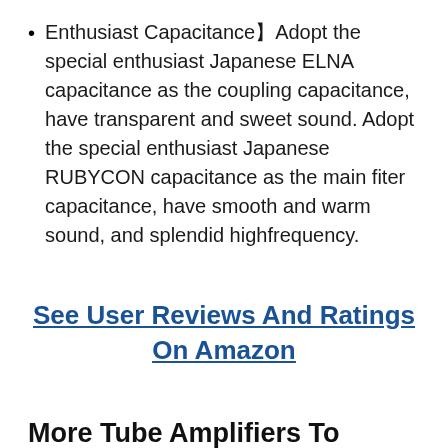Enthusiast Capacitance】Adopt the special enthusiast Japanese ELNA capacitance as the coupling capacitance, have transparent and sweet sound. Adopt the special enthusiast Japanese RUBYCON capacitance as the main fiter capacitance, have smooth and warm sound, and splendid highfrequency.
See User Reviews And Ratings On Amazon
More Tube Amplifiers To Choose From